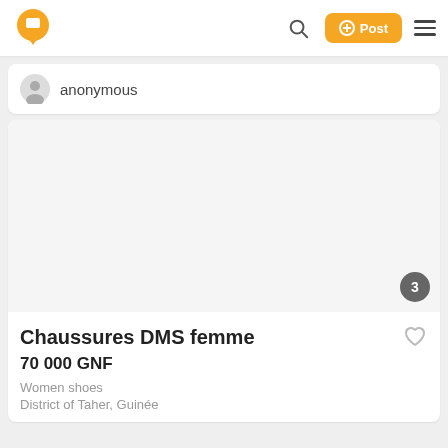anonymous
[Figure (screenshot): Blank listing image area with a badge showing '3' images]
Chaussures DMS femme
70 000 GNF
Women shoes
District of Taher, Guinée